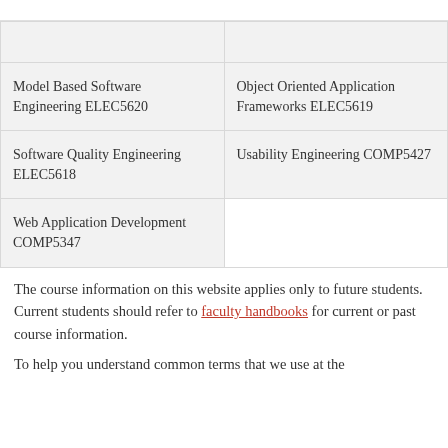|  |  |
| Model Based Software Engineering ELEC5620 | Object Oriented Application Frameworks ELEC5619 |
| Software Quality Engineering ELEC5618 | Usability Engineering COMP5427 |
| Web Application Development COMP5347 |  |
The course information on this website applies only to future students. Current students should refer to faculty handbooks for current or past course information.
To help you understand common terms that we use at the